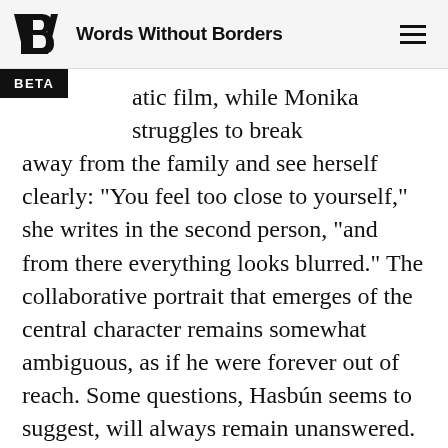Words Without Borders
atic film, while Monika struggles to break away from the family and see herself clearly: “You feel too close to yourself,” she writes in the second person, “and from there everything looks blurred.” The collaborative portrait that emerges of the central character remains somewhat ambiguous, as if he were forever out of reach. Some questions, Hasbún seems to suggest, will always remain unanswered.
The tone is not entirely melancholic, however. The first and longest chapter, narrated by Heidi, launches us on an epic adventure, as Hans decides to film a documentary about the ruins of the lost